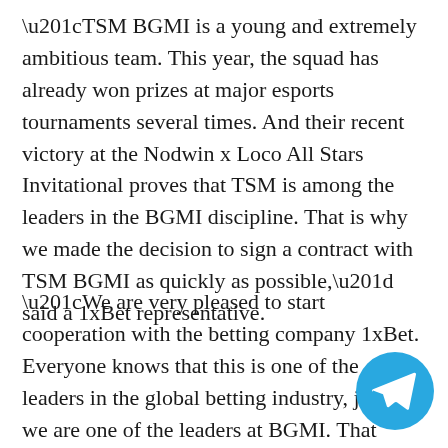“TSM BGMI is a young and extremely ambitious team. This year, the squad has already won prizes at major esports tournaments several times. And their recent victory at the Nodwin x Loco All Stars Invitational proves that TSM is among the leaders in the BGMI discipline. That is why we made the decision to sign a contract with TSM BGMI as quickly as possible,” said a 1xBet representative.
“We are very pleased to start cooperation with the betting company 1xBet. Everyone knows that this is one of the leaders in the global betting industry, just like we are one of the leaders at BGMI. That is why our cooperation will be exciting and we’ll be creating even more great content to all our fans,” commented
[Figure (logo): Telegram messenger blue circle icon with white paper airplane symbol, partially overlapping the text in the bottom right corner]